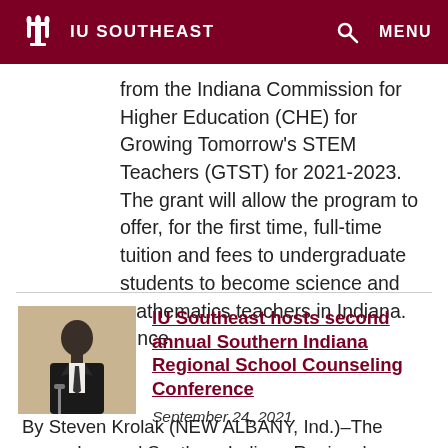IU SOUTHEAST
from the Indiana Commission for Higher Education (CHE) for Growing Tomorrow's STEM Teachers (GTST) for 2021-2023. The grant will allow the program to offer, for the first time, full-time tuition and fees to undergraduate students to become science and mathematics teachers in Indiana. Since …
[Figure (photo): Man in suit speaking at a podium or microphone, photographed at an event]
IU Southeast hosts second annual Southern Indiana Regional School Counseling Conference
September 24, 2021
By Steven Krolak (NEW ALBANY, Ind.)–The second annual Southern Indiana Regional School Counseling Conference was held …